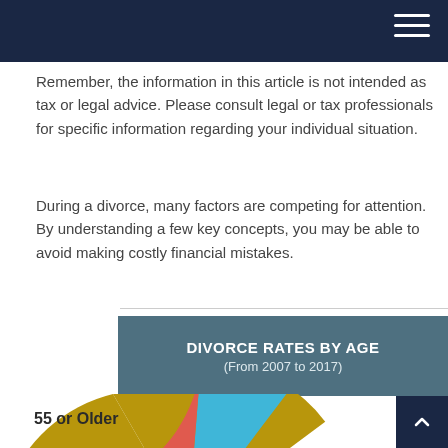Remember, the information in this article is not intended as tax or legal advice. Please consult legal or tax professionals for specific information regarding your individual situation.
During a divorce, many factors are competing for attention. By understanding a few key concepts, you may be able to avoid making costly financial mistakes.
[Figure (pie-chart): Pie chart showing divorce rates by age from 2007 to 2017. Visible slice: 55 or Older 37.20% (dark gold), 18.10% (blue), and partial slice visible (red/coral). Label 'Le' visible on right (truncated, likely 'Less than 35' or similar).]